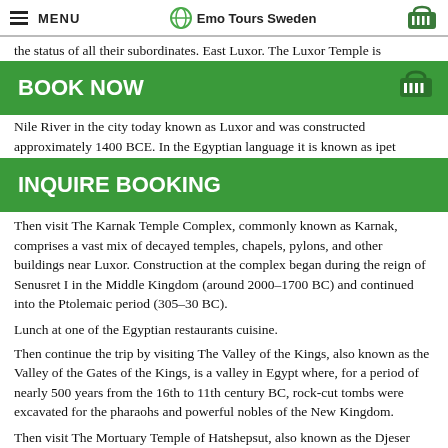MENU | Emo Tours Sweden
the status of all their subordinates. East Luxor. The Luxor Temple is
BOOK NOW
Nile River in the city today known as Luxor and was constructed approximately 1400 BCE. In the Egyptian language it is known as ipet
INQUIRE BOOKING
Then visit The Karnak Temple Complex, commonly known as Karnak, comprises a vast mix of decayed temples, chapels, pylons, and other buildings near Luxor. Construction at the complex began during the reign of Senusret I in the Middle Kingdom (around 2000–1700 BC) and continued into the Ptolemaic period (305–30 BC).
Lunch at one of the Egyptian restaurants cuisine.
Then continue the trip by visiting The Valley of the Kings, also known as the Valley of the Gates of the Kings, is a valley in Egypt where, for a period of nearly 500 years from the 16th to 11th century BC, rock-cut tombs were excavated for the pharaohs and powerful nobles of the New Kingdom.
Then visit The Mortuary Temple of Hatshepsut, also known as the Djeser